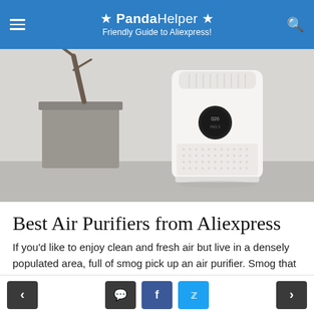★ PandaHelper ★ Friendly Guide to Aliexpress!
[Figure (photo): A white tower air purifier with a round display panel, placed near a concrete planter with a branch, against a light gray background.]
Best Air Purifiers from Aliexpress
If you'd like to enjoy clean and fresh air but live in a densely populated area, full of smog pick up an air purifier. Smog that consits of PM
< [comment] [f] [twitter] >